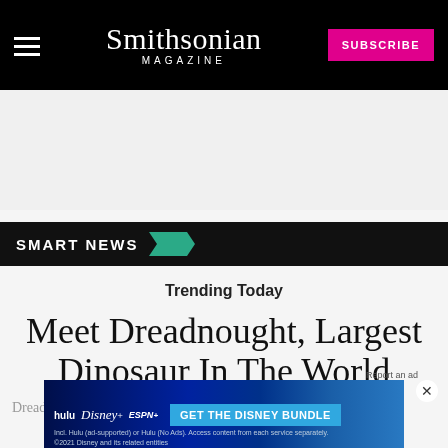Smithsonian MAGAZINE | SUBSCRIBE
SMART NEWS
Trending Today
Meet Dreadnought, Largest Dinosaur In The World
Dreadnoughtus ... world
[Figure (other): Disney Bundle advertisement banner with Hulu, Disney+, and ESPN+ logos and GET THE DISNEY BUNDLE call to action]